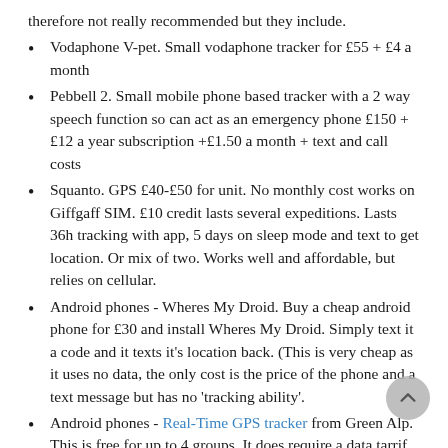therefore not really recommended but they include.
Vodaphone V-pet. Small vodaphone tracker for £55 + £4 a month
Pebbell 2. Small mobile phone based tracker with a 2 way speech function so can act as an emergency phone £150 + £12 a year subscription +£1.50 a month + text and call costs
Squanto. GPS £40-£50 for unit. No monthly cost works on Giffgaff SIM. £10 credit lasts several expeditions. Lasts 36h tracking with app, 5 days on sleep mode and text to get location. Or mix of two. Works well and affordable, but relies on cellular.
Android phones - Wheres My Droid. Buy a cheap android phone for £30 and install Wheres My Droid. Simply text it a code and it texts it's location back. (This is very cheap as it uses no data, the only cost is the price of the phone and a text message but has no 'tracking ability'.
Android phones - Real-Time GPS tracker from Green Alp. This is free for up to 4 groups. It does require a data tarrif but doesn't cost that much and you can set 'geo fence' alerts if your tracker strays outside of a designated area.